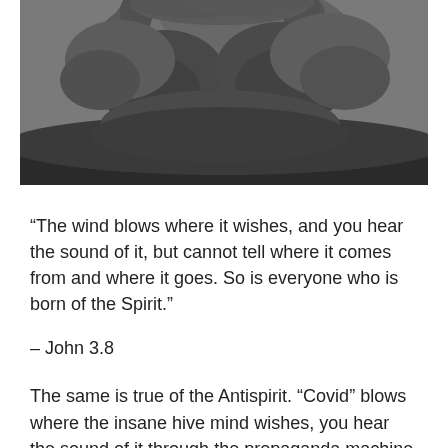[Figure (photo): Photograph of a volcanic eruption with large dark ash cloud billowing upward against a grey sky over a dark rocky landscape.]
“The wind blows where it wishes, and you hear the sound of it, but cannot tell where it comes from and where it goes. So is everyone who is born of the Spirit.”
– John 3.8
The same is true of the Antispirit. “Covid” blows where the insane hive mind wishes, you hear the sound of it through the propaganda machine and the terrorized squeals and